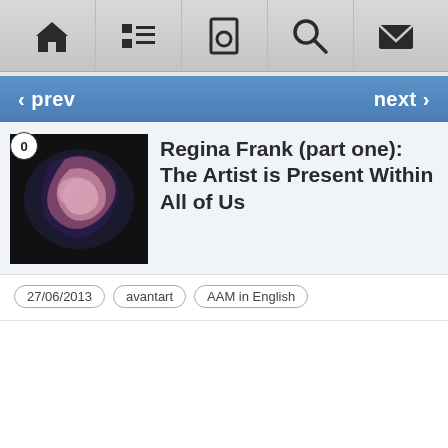[Figure (screenshot): Top navigation bar with icons: home, list/menu, document, search, mail]
‹ prev
next ›
Regina Frank (part one): The Artist is Present Within All of Us
27/06/2013
avantart
AAM in English